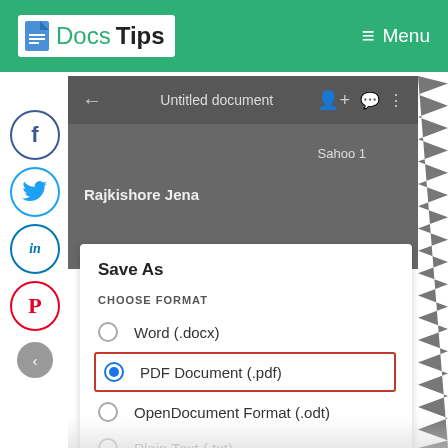Docs Tips | Menu
[Figure (screenshot): Mobile Google Docs interface showing 'Save As' dialog with format options: Word (.docx), PDF Document (.pdf) [selected, highlighted in red border], OpenDocument Format (.odt), Plain Text (.txt). The document is titled 'Untitled document' with author 'Rajkishore Jena' and header text 'Sahoo 1'.]
[Figure (illustration): Social media sharing buttons on the left side: Facebook (blue circle), Twitter (light blue circle), LinkedIn (dark blue circle), Pinterest (red circle), and a back navigation arrow.]